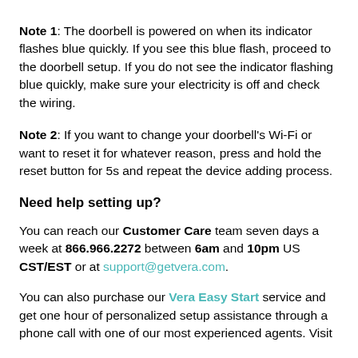Note 1: The doorbell is powered on when its indicator flashes blue quickly. If you see this blue flash, proceed to the doorbell setup. If you do not see the indicator flashing blue quickly, make sure your electricity is off and check the wiring.
Note 2: If you want to change your doorbell's Wi-Fi or want to reset it for whatever reason, press and hold the reset button for 5s and repeat the device adding process.
Need help setting up?
You can reach our Customer Care team seven days a week at 866.966.2272 between 6am and 10pm US CST/EST or at support@getvera.com.
You can also purchase our Vera Easy Start service and get one hour of personalized setup assistance through a phone call with one of our most experienced agents. Visit